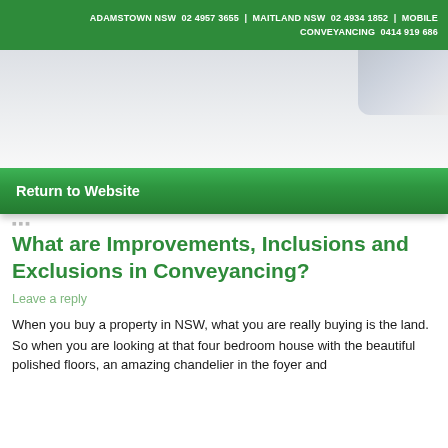ADAMSTOWN NSW  02 4957 3655  |  MAITLAND NSW  02 4934 1852  |  MOBILE CONVEYANCING  0414 919 686
[Figure (other): Banner/hero image area with light grey gradient and a faded blue-grey element in the upper right corner]
Return to Website
What are Improvements, Inclusions and Exclusions in Conveyancing?
Leave a reply
When you buy a property in NSW, what you are really buying is the land.
So when you are looking at that four bedroom house with the beautiful polished floors, an amazing chandelier in the foyer and